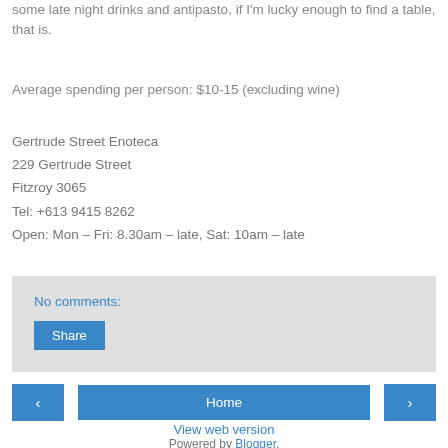some late night drinks and antipasto, if I'm lucky enough to find a table, that is.
Average spending per person: $10-15 (excluding wine)
Gertrude Street Enoteca
229 Gertrude Street
Fitzroy 3065
Tel: +613 9415 8262
Open: Mon – Fri: 8.30am – late, Sat: 10am – late
No comments:
Share
‹
Home
›
View web version
Powered by Blogger.